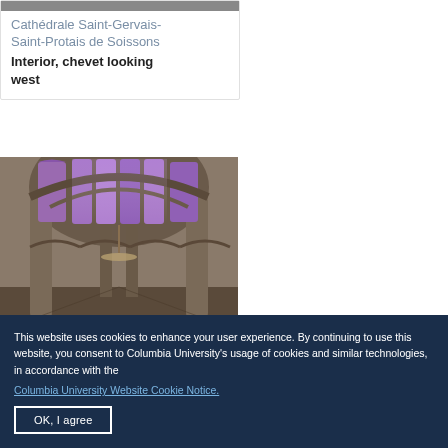Cathédrale Saint-Gervais-Saint-Protais de Soissons
Interior, chevet looking west
[Figure (photo): Interior view of Cathédrale Saint-Gervais-Saint-Protais de Soissons, chevet looking west, showing Gothic arches, stone columns, and colorful stained glass windows at the apse]
This website uses cookies to enhance your user experience. By continuing to use this website, you consent to Columbia University's usage of cookies and similar technologies, in accordance with the
Columbia University Website Cookie Notice.
OK, I agree